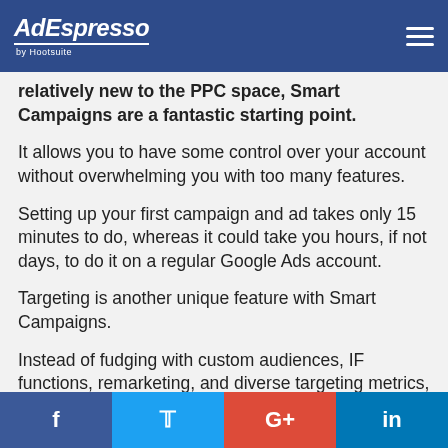AdEspresso by Hootsuite
relatively new to the PPC space, Smart Campaigns are a fantastic starting point.
It allows you to have some control over your account without overwhelming you with too many features.
Setting up your first campaign and ad takes only 15 minutes to do, whereas it could take you hours, if not days, to do it on a regular Google Ads account.
Targeting is another unique feature with Smart Campaigns.
Instead of fudging with custom audiences, IF functions, remarketing, and diverse targeting metrics,
f  t  G+  in